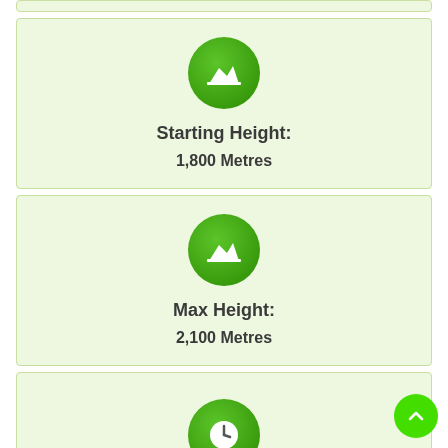[Figure (infographic): Green circle icon with mountain/area chart symbol, representing starting height]
Starting Height:
1,800 Metres
[Figure (infographic): Green circle icon with mountain/area chart symbol, representing max height]
Max Height:
2,100 Metres
[Figure (infographic): Green circle icon with clock/time symbol, partially visible at bottom of page]